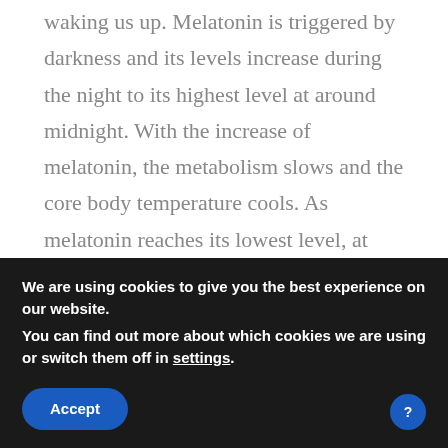waking us up. Melatonin is triggered by darkness and its levels increase during the night to its highest level at around midnight. With the increase of melatonin, the metabolism slows and the core body temperature cools. As melatonin reaches its lowest level, at around 3:00 AM, the cortisol levels rise. The highest cortisol levels should be at 5:00 to 6:00 AM, just before you wake up. With this rise in cortisol a person will wake up feeling refreshed and rested.
We are using cookies to give you the best experience on our website.
You can find out more about which cookies we are using or switch them off in settings.